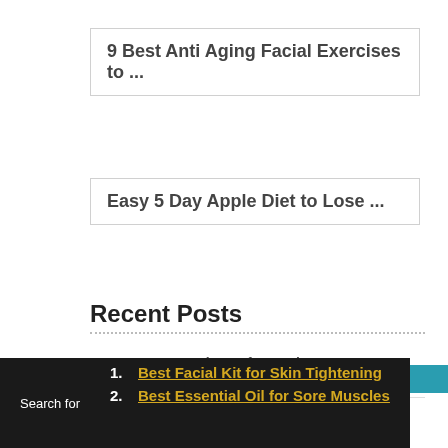9 Best Anti Aging Facial Exercises to ...
Easy 5 Day Apple Diet to Lose ...
Recent Posts
11 Best Gym Workouts for Beginners to Lose Weight and Belly Fat Fast
3 Day Pineapple Diet Plan: How to Lose Weight and Belly Fat in 3 Days
Search for
1. Best Facial Kit for Skin Tightening
2. Best Essential Oil for Sore Muscles